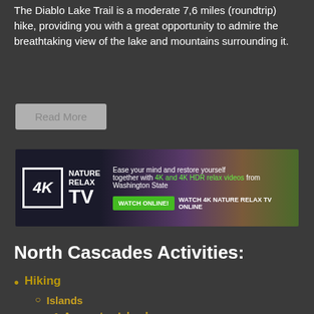The Diablo Lake Trail is a moderate 7,6 miles (roundtrip) hike, providing you with a great opportunity to admire the breathtaking view of the lake and mountains surrounding it.
[Figure (other): Advertisement banner for 4K Nature Relax TV showing text: Ease your mind and restore yourself together with 4K and 4K HDR relax videos from Washington State. Buttons: WATCH ONLINE! and WATCH 4K NATURE RELAX TV ONLINE. Background shows purple wildflowers and mountains.]
North Cascades Activities:
Hiking
Islands
Anacortes Island
Lopez Island
Friday Harbor
Mt. Baker Area
Artist Point
Stephen Mather Wilderness Area
Attractions